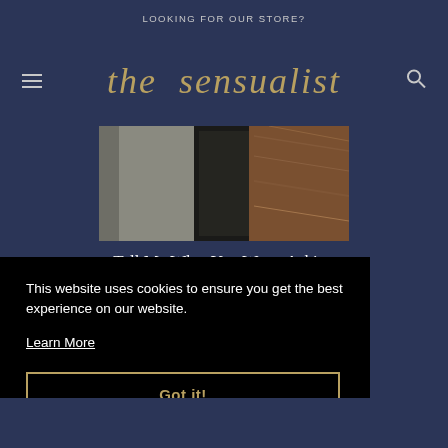LOOKING FOR OUR STORE?
the sensualist
[Figure (photo): Close-up photo of what appears to be a slate or stone surface alongside a wooden or marble textured surface with warm brown tones]
Tell Me What You Want: Asking For What You Want in the Be...
This website uses cookies to ensure you get the best experience on our website.
Learn More
Got it!